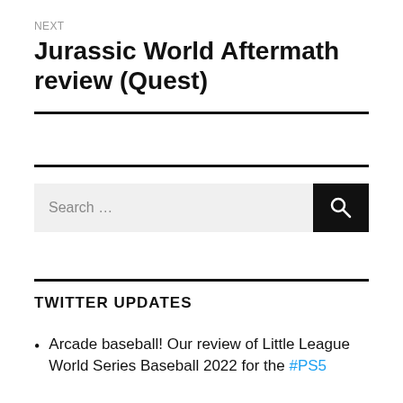NEXT
Jurassic World Aftermath review (Quest)
TWITTER UPDATES
Arcade baseball! Our review of Little League World Series Baseball 2022 for the #PS5